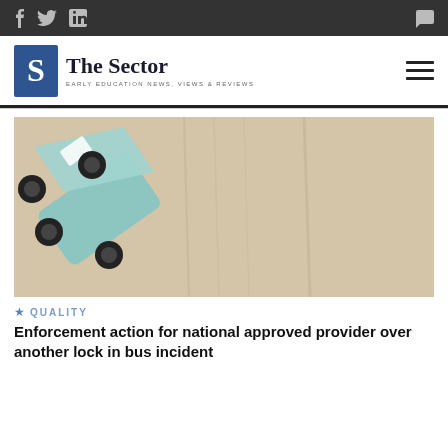Social icons: Facebook, Twitter, LinkedIn, Chat
[Figure (logo): The Sector logo — blue square with S, text 'The Sector', subtitle 'EARLY EDUCATION NEWS, VIEWS & REVIEWS']
[Figure (photo): Close-up photo of a small toy bus (light blue/teal) on a light wood-grain surface, viewed from above at an angle]
★ QUALITY
Enforcement action for national approved provider over another lock in bus incident